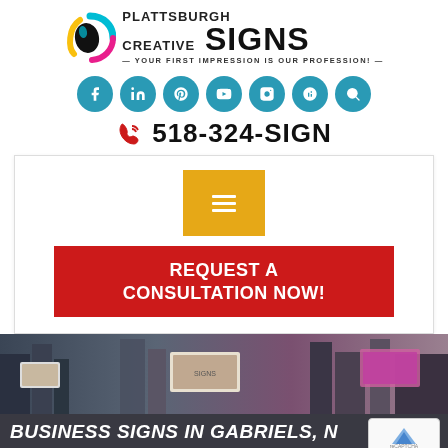[Figure (logo): Plattsburgh Creative Signs logo with colorful spiral icon and tagline: YOUR FIRST IMPRESSION IS OUR PROFESSION!]
[Figure (other): Row of 7 teal circular social media icon buttons: Facebook, LinkedIn, Pinterest, YouTube, Instagram, Yelp, Search]
518-324-SIGN
[Figure (screenshot): White nav panel with gold hamburger menu button and red REQUEST A CONSULTATION NOW! button]
[Figure (photo): City street with large billboard signs and advertisements]
BUSINESS SIGNS IN GABRIELS, NY
Decline  Accept cookies
Home >> Business Signs in Gabriels, NY